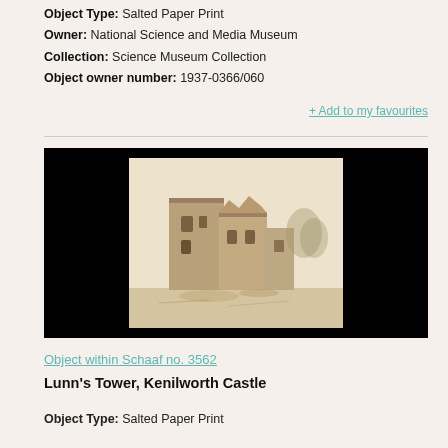Object Type: Salted Paper Print
Owner: National Science and Media Museum
Collection: Science Museum Collection
Object owner number: 1937-0366/060
+ Add to my favourites
[Figure (photo): Sepia-toned salted paper print photograph of Lunn's Tower at Kenilworth Castle, showing ruined stone walls and towers against a light background.]
Object within Schaaf no. 3562
Lunn's Tower, Kenilworth Castle
Object Type: Salted Paper Print